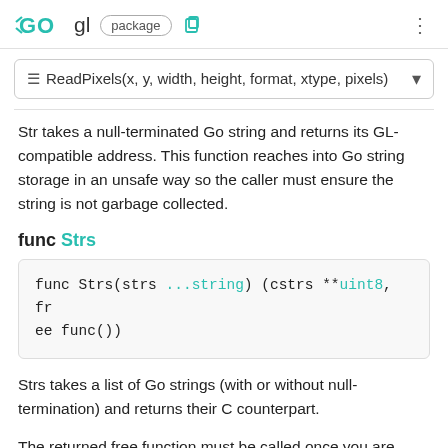GO gl package
≡ ReadPixels(x, y, width, height, format, xtype, pixels)
Str takes a null-terminated Go string and returns its GL-compatible address. This function reaches into Go string storage in an unsafe way so the caller must ensure the string is not garbage collected.
func Strs
Strs takes a list of Go strings (with or without null-termination) and returns their C counterpart.
The returned free function must be called once you are done using the returned C strings.